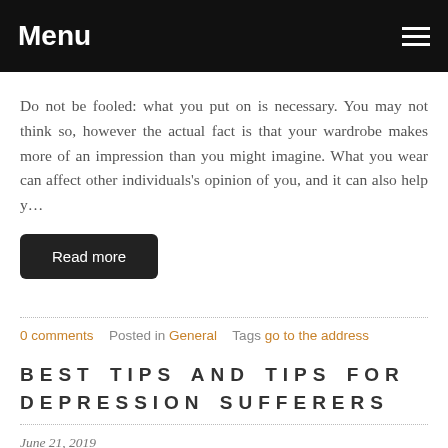Menu
Do not be fooled: what you put on is necessary. You may not think so, however the actual fact is that your wardrobe makes more of an impression than you might imagine. What you wear can affect other individuals's opinion of you, and it can also help y…
Read more
0 comments   Posted in General   Tags go to the address
BEST TIPS AND TIPS FOR DEPRESSION SUFFERERS
June 21, 2019